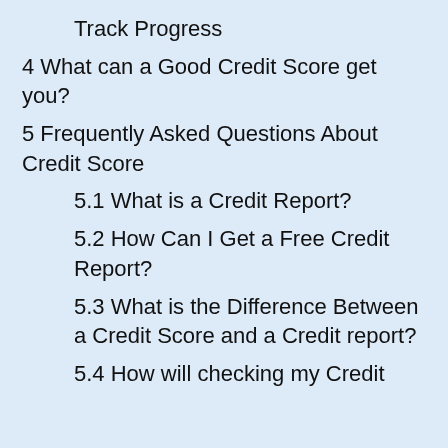Track Progress
4 What can a Good Credit Score get you?
5 Frequently Asked Questions About Credit Score
5.1 What is a Credit Report?
5.2 How Can I Get a Free Credit Report?
5.3 What is the Difference Between a Credit Score and a Credit report?
5.4 How will checking my Credit